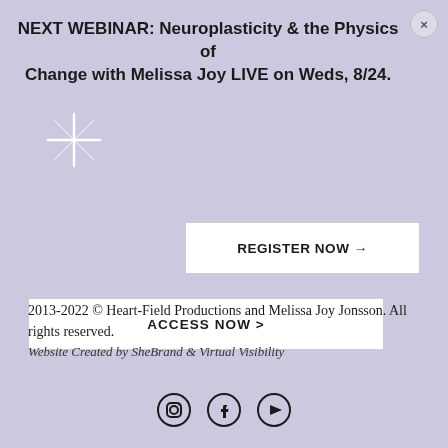NEXT WEBINAR: Neuroplasticity & the Physics of Change with Melissa Joy LIVE on Weds, 8/24.
[Figure (other): Decorative sparkle/star graphic in upper left area]
REGISTER NOW →
ACCESS NOW >
2013-2022 © Heart-Field Productions and Melissa Joy Jonsson. All rights reserved.
Website Created by SheBrand & Virtual Visibility
[Figure (other): Social media icons: Instagram, Facebook, YouTube]